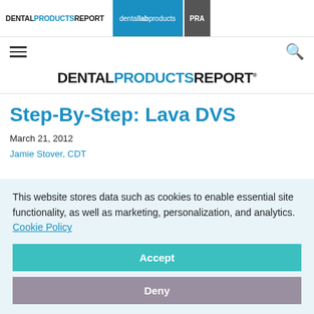DENTAL PRODUCTS REPORT | dental lab products | PRA
[Figure (logo): Dental Products Report logo - large centered masthead]
Step-By-Step: Lava DVS
March 21, 2012
Jamie Stover, CDT
This website stores data such as cookies to enable essential site functionality, as well as marketing, personalization, and analytics. Cookie Policy
Accept
Deny